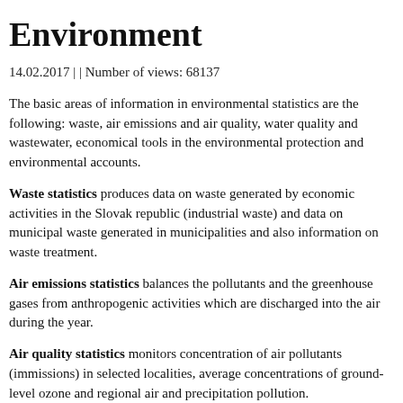Environment
14.02.2017 | | Number of views: 68137
The basic areas of information in environmental statistics are the following: waste, air emissions and air quality, water quality and wastewater, economical tools in the environmental protection and environmental accounts.
Waste statistics produces data on waste generated by economic activities in the Slovak republic (industrial waste) and data on municipal waste generated in municipalities and also information on waste treatment.
Air emissions statistics balances the pollutants and the greenhouse gases from anthropogenic activities which are discharged into the air during the year.
Air quality statistics monitors concentration of air pollutants (immissions) in selected localities, average concentrations of ground-level ozone and regional air and precipitation pollution.
Water quality statistics is focused on assessment of indicators on